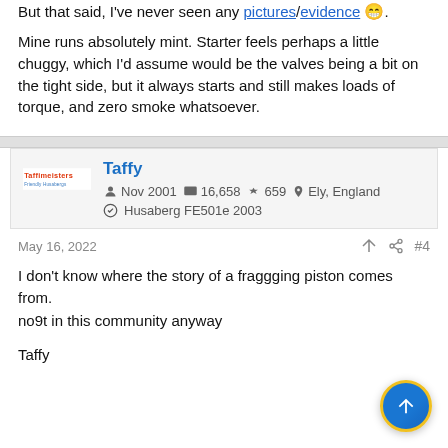But that said, I've never seen any pictures/evidence 😁.
Mine runs absolutely mint. Starter feels perhaps a little chuggy, which I'd assume would be the valves being a bit on the tight side, but it always starts and still makes loads of torque, and zero smoke whatsoever.
Taffy | Nov 2001 | 16,658 | 659 | Ely, England | Husaberg FE501e 2003
May 16, 2022 #4
I don't know where the story of a fraggging piston comes from. no9t in this community anyway
Taffy